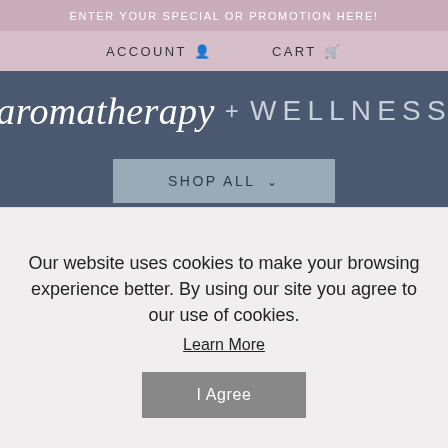ENTER YOUR SPECIAL OR PROMOTION HERE!
ACCOUNT  CART
aromatherapy + WELLNESS
SHOP ALL
HOME > NEOCELL LABORATORIES SUPER COLLAGEN +C (1X250 TAB)
Our website uses cookies to make your browsing experience better. By using our site you agree to our use of cookies. Learn More
I Agree